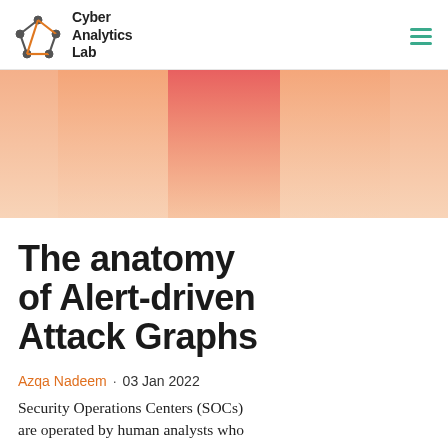Cyber Analytics Lab
[Figure (illustration): Abstract geometric gradient banner with orange, peach, and red rectangular color blocks fading into a warm peach background]
The anatomy of Alert-driven Attack Graphs
Azqa Nadeem · 03 Jan 2022
Security Operations Centers (SOCs) are operated by human analysts who